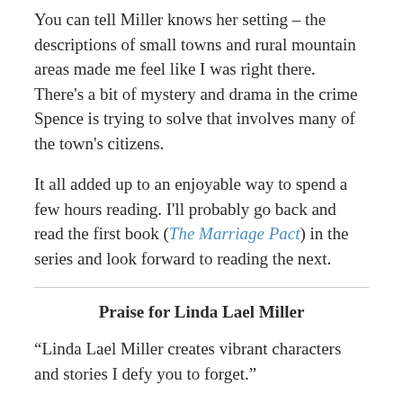You can tell Miller knows her setting – the descriptions of small towns and rural mountain areas made me feel like I was right there. There's a bit of mystery and drama in the crime Spence is trying to solve that involves many of the town's citizens.

It all added up to an enjoyable way to spend a few hours reading. I'll probably go back and read the first book (The Marriage Pact) in the series and look forward to reading the next.
Praise for Linda Lael Miller
“Linda Lael Miller creates vibrant characters and stories I defy you to forget.”